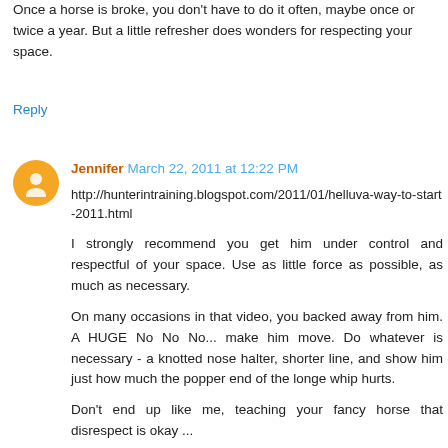Once a horse is broke, you don't have to do it often, maybe once or twice a year. But a little refresher does wonders for respecting your space.
Reply
Jennifer  March 22, 2011 at 12:22 PM
http://hunterintraining.blogspot.com/2011/01/helluva-way-to-start-2011.html
I strongly recommend you get him under control and respectful of your space. Use as little force as possible, as much as necessary.
On many occasions in that video, you backed away from him. A HUGE No No No... make him move. Do whatever is necessary - a knotted nose halter, shorter line, and show him just how much the popper end of the longe whip hurts.
Don't end up like me, teaching your fancy horse that disrespect is okay ...
Reply